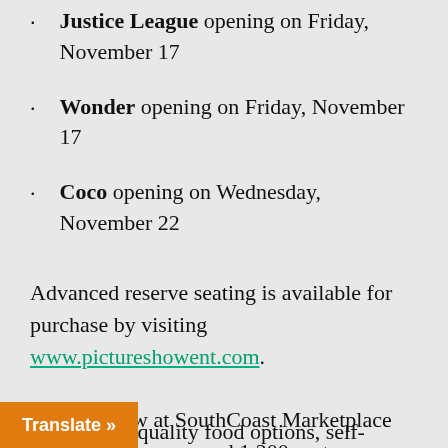Justice League opening on Friday, November 17
Wonder opening on Friday, November 17
Coco opening on Wednesday, November 22
Advanced reserve seating is available for purchase by visiting www.pictureshowent.com.
Picture Show at SouthCoast Marketplace features 11 screens and 1,200 seats, offering guests a high-quality movie experience complemented with luxury leather electric reclining seating, wall-to-wall high-definition screens and cutting-edge digital projection and sound systems. The theater will also feature an extended menu with high-quality food options, self-